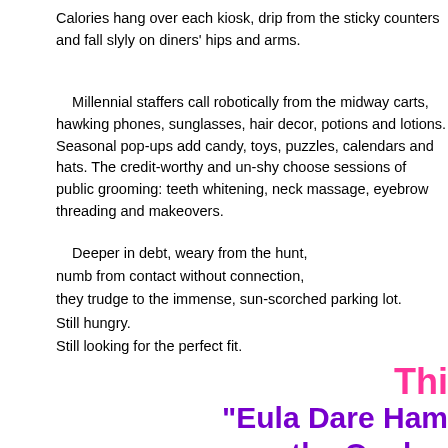Calories hang over each kiosk, drip from the sticky counters and fall slyly on diners' hips and arms.
Millennial staffers call robotically from the midway carts, hawking phones, sunglasses, hair decor, potions and lotions. Seasonal pop-ups add candy, toys, puzzles, calendars and hats. The credit-worthy and un-shy choose sessions of public grooming: teeth whitening, neck massage, eyebrow threading and makeovers.
Deeper in debt, weary from the hunt,
numb from contact without connection,
they trudge to the immense, sun-scorched parking lot.
Still hungry.
Still looking for the perfect fit.
Thi
"Eula Dare Ham the Quaker